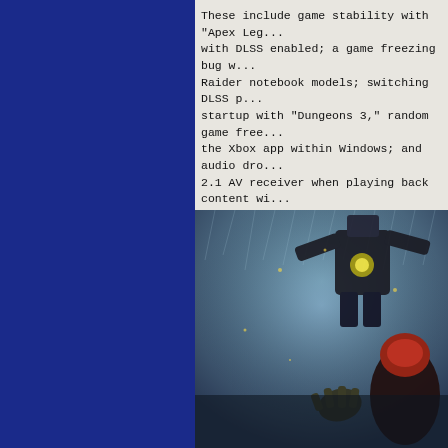These include game stability with "Apex Legends" with DLSS enabled; a game freezing bug with Raider notebook models; switching DLSS presets at startup with "Dungeons 3," random game freezes in the Xbox app within Windows; and audio dropouts on a 2.1 AV receiver when playing back content with...
NVIDIA has also shared a synopsis for the game on GeForce hardware:
[Figure (photo): Screenshot from a video game showing a character in the foreground being struck or reaching out, with a large robotic/mechanical enemy figure in the background. The scene is set in a dark, rainy environment with blue/gray tones.]